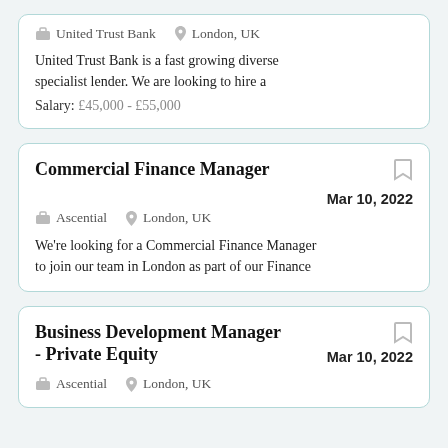United Trust Bank   London, UK
United Trust Bank is a fast growing diverse specialist lender. We are looking to hire a
Salary: £45,000 - £55,000
Commercial Finance Manager
Ascential   London, UK   Mar 10, 2022
We're looking for a Commercial Finance Manager to join our team in London as part of our Finance
Business Development Manager - Private Equity
Ascential   London, UK   Mar 10, 2022